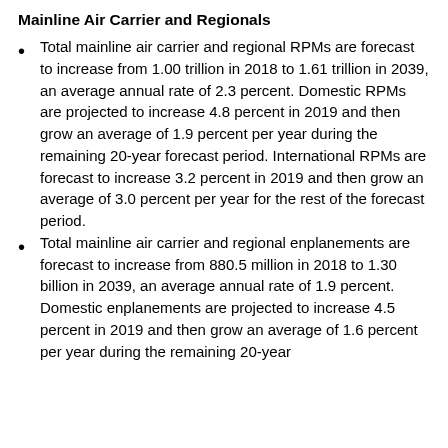Mainline Air Carrier and Regionals
Total mainline air carrier and regional RPMs are forecast to increase from 1.00 trillion in 2018 to 1.61 trillion in 2039, an average annual rate of 2.3 percent. Domestic RPMs are projected to increase 4.8 percent in 2019 and then grow an average of 1.9 percent per year during the remaining 20-year forecast period. International RPMs are forecast to increase 3.2 percent in 2019 and then grow an average of 3.0 percent per year for the rest of the forecast period.
Total mainline air carrier and regional enplanements are forecast to increase from 880.5 million in 2018 to 1.30 billion in 2039, an average annual rate of 1.9 percent. Domestic enplanements are projected to increase 4.5 percent in 2019 and then grow an average of 1.6 percent per year during the remaining 20-year